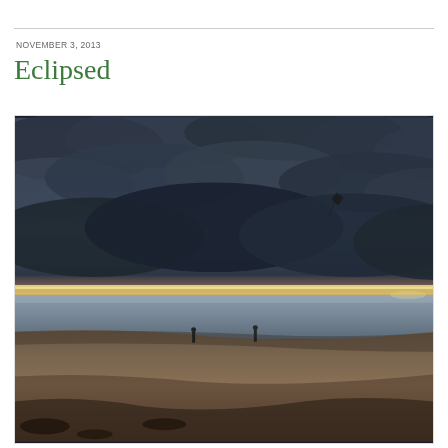NOVEMBER 3, 2013
Eclipsed
[Figure (photo): A beach scene at dusk or dawn with a dramatic cloudy sky. The horizon shows a thin band of warm orange and yellow light from the setting/rising sun beneath dark, heavy storm clouds. The beach stretches across the foreground with sandy textures. Two small human figures stand near the water's edge. A kite or paraglider is visible in the upper right portion of the sky. The water appears calm and grey-blue.]